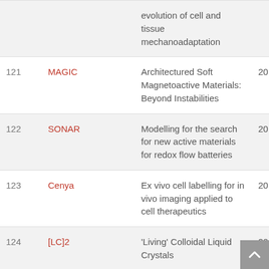| # | Acronym | Title | Year |
| --- | --- | --- | --- |
|  |  | evolution of cell and tissue mechanoadaptation | 2(…) |
| 121 | MAGIC | Architectured Soft Magnetoactive Materials: Beyond Instabilities | 20(…) |
| 122 | SONAR | Modelling for the search for new active materials for redox flow batteries | 20(…) |
| 123 | Cenya | Ex vivo cell labelling for in vivo imaging applied to cell therapeutics | 20(…) |
| 124 | [LC]2 | 'Living' Colloidal Liquid Crystals | 20(…) |